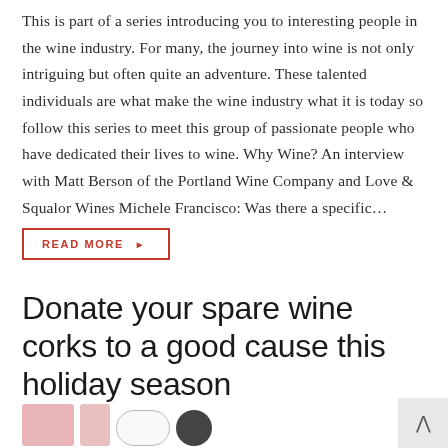This is part of a series introducing you to interesting people in the wine industry. For many, the journey into wine is not only intriguing but often quite an adventure. These talented individuals are what make the wine industry what it is today so follow this series to meet this group of passionate people who have dedicated their lives to wine. Why Wine? An interview with Matt Berson of the Portland Wine Company and Love & Squalor Wines Michele Francisco: Was there a specific…
READ MORE ▶
Donate your spare wine corks to a good cause this holiday season